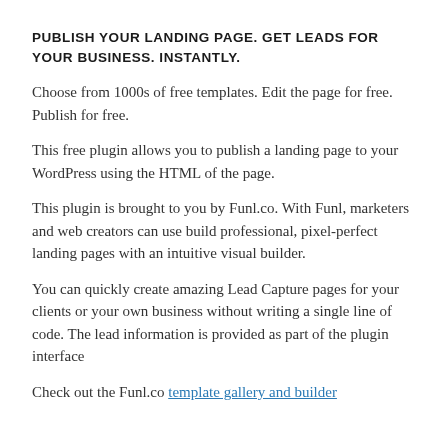PUBLISH YOUR LANDING PAGE. GET LEADS FOR YOUR BUSINESS. INSTANTLY.
Choose from 1000s of free templates. Edit the page for free. Publish for free.
This free plugin allows you to publish a landing page to your WordPress using the HTML of the page.
This plugin is brought to you by Funl.co. With Funl, marketers and web creators can use build professional, pixel-perfect landing pages with an intuitive visual builder.
You can quickly create amazing Lead Capture pages for your clients or your own business without writing a single line of code. The lead information is provided as part of the plugin interface
Check out the Funl.co template gallery and builder